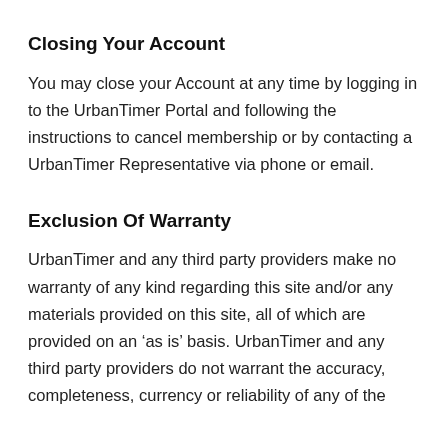Closing Your Account
You may close your Account at any time by logging in to the UrbanTimer Portal and following the instructions to cancel membership or by contacting a UrbanTimer Representative via phone or email.
Exclusion Of Warranty
UrbanTimer and any third party providers make no warranty of any kind regarding this site and/or any materials provided on this site, all of which are provided on an ‘as is’ basis. UrbanTimer and any third party providers do not warrant the accuracy, completeness, currency or reliability of any of the